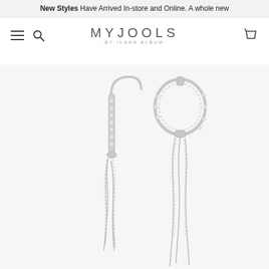New Styles Have Arrived In-store and Online. A whole new
[Figure (logo): MYJOOLS by Ilana Album logo with hamburger menu, search icon, and cart icon navigation]
[Figure (photo): Silver hoop earrings with crystal/diamond embellishments and dangling chain details, shown as a pair on light background]